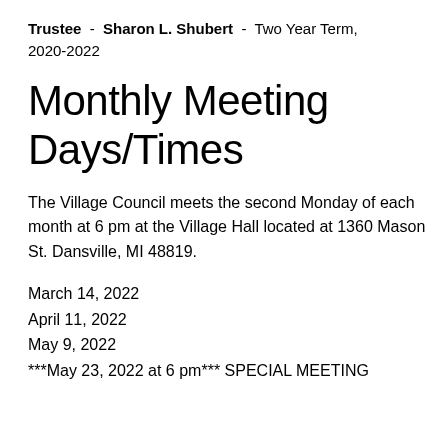Trustee - Sharon L. Shubert - Two Year Term, 2020-2022
Monthly Meeting Days/Times
The Village Council meets the second Monday of each month at 6 pm at the Village Hall located at 1360 Mason St. Dansville, MI 48819.
March 14, 2022
April 11, 2022
May 9, 2022
***May 23, 2022 at 6 pm*** SPECIAL MEETING